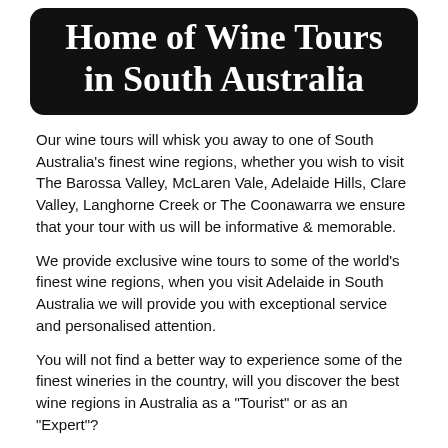Home of Wine Tours in South Australia
Our wine tours will whisk you away to one of South Australia's finest wine regions, whether you wish to visit The Barossa Valley, McLaren Vale, Adelaide Hills, Clare Valley, Langhorne Creek or The Coonawarra we ensure that your tour with us will be informative & memorable.
We provide exclusive wine tours to some of the world's finest wine regions, when you visit Adelaide in South Australia we will provide you with exceptional service and personalised attention.
You will not find a better way to experience some of the finest wineries in the country, will you discover the best wine regions in Australia as a "Tourist" or as an "Expert"?
Life is a Cabernet will provide the experience that many try to achieve and emulate, with over 21 years in the wine tour